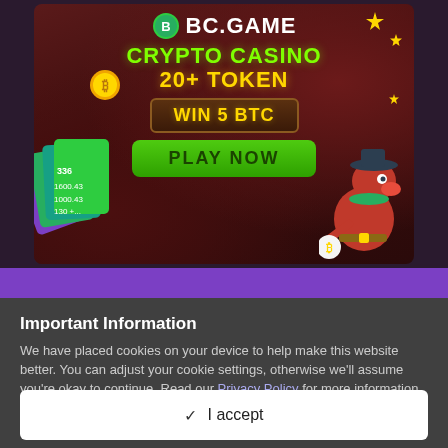[Figure (illustration): BC.GAME crypto casino advertisement banner with green text 'CRYPTO CASINO', yellow text '20+ TOKEN', golden banner 'WIN 5 BTC', green 'PLAY NOW' button, cartoon dinosaur character holding a money bag, playing cards decoration, and bitcoin coin. Dark red cave-like background with sparkle decorations.]
Important Information
We have placed cookies on your device to help make this website better. You can adjust your cookie settings, otherwise we'll assume you're okay to continue. Read our Privacy Policy for more information.
✓  I accept